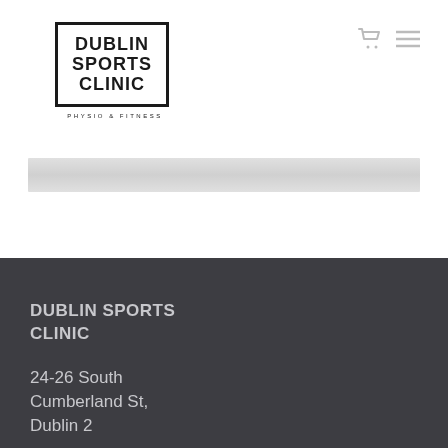[Figure (logo): Dublin Sports Clinic logo with border box, text DUBLIN SPORTS CLINIC, tagline PHYSIO & FITNESS]
[Figure (other): Grey horizontal banner/bar]
DUBLIN SPORTS CLINIC
24-26 South Cumberland St, Dublin 2